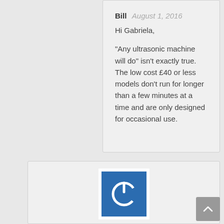Bill  August 1, 2016
Hi Gabriela,
“Any ultrasonic machine will do” isn’t exactly true. The low cost £40 or less models don’t run for longer than a few minutes at a time and are only designed for occasional use.
[Figure (logo): Blue square with white power button icon on white background]
ARCHITA  August 2, 2016
Dr Segura,